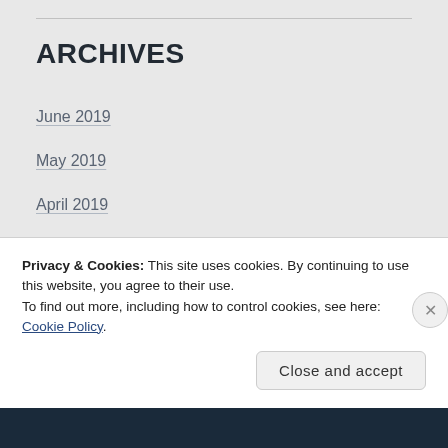ARCHIVES
June 2019
May 2019
April 2019
March 2019
February 2019
January 2019
December 2018
Privacy & Cookies: This site uses cookies. By continuing to use this website, you agree to their use.
To find out more, including how to control cookies, see here: Cookie Policy
Close and accept